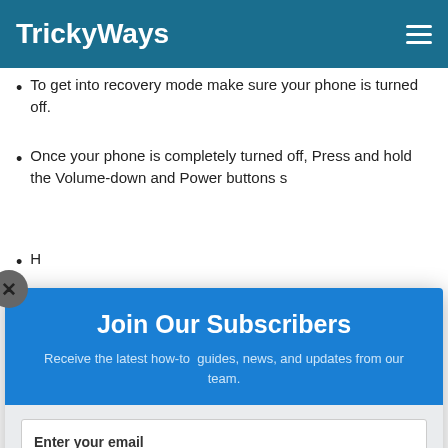TrickyWays
To get into recovery mode make sure your phone is turned off.
Once your phone is completely turned off, Press and hold the Volume-down and Power buttons simultaneously until you see the recovery screen.
Hold and navigate through the recovery menu options using Volume-down and Volume-up buttons.
Join Our Subscribers
Receive the latest how-to guides, news, and updates from our team.
Enter your email
Subscribe